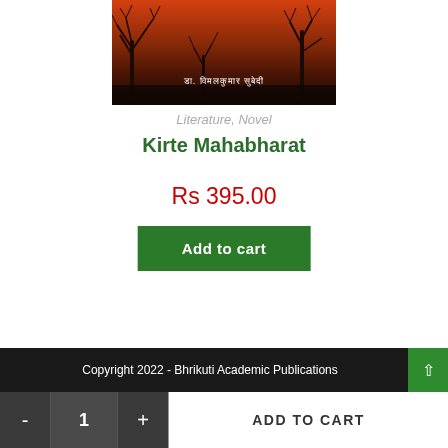[Figure (photo): Book cover with dark reddish-brown background showing silhouettes of bare trees against an orange-red sky. Devanagari text reads: डा. विमलकुमार सुबेदी]
Literature, Novel
Kirte Mahabharat
Rs 395.00
Add to cart
Copyright 2022 - Bhrikuti Academic Publications
- 1 + ADD TO CART